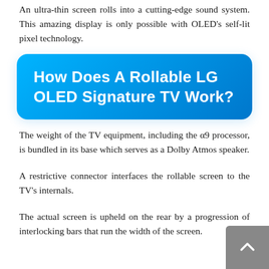An ultra-thin screen rolls into a cutting-edge sound system. This amazing display is only possible with OLED's self-lit pixel technology.
How Does A Rollable LG OLED Signature TV Work?
The weight of the TV equipment, including the α9 processor, is bundled in its base which serves as a Dolby Atmos speaker.
A restrictive connector interfaces the rollable screen to the TV's internals.
The actual screen is upheld on the rear by a progression of interlocking bars that run the width of the screen.